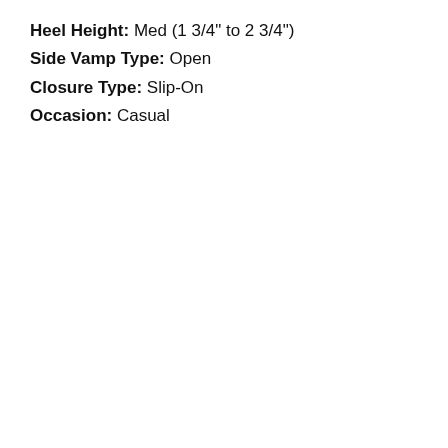Heel Height: Med (1 3/4" to 2 3/4")
Side Vamp Type: Open
Closure Type: Slip-On
Occasion: Casual